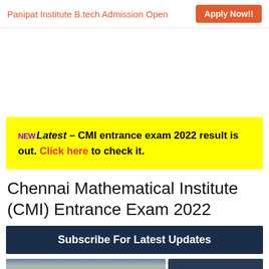Panipat Institute B.tech Admission Open  Apply Now!!
NEW Latest – CMI entrance exam 2022 result is out. Click here to check it.
Chennai Mathematical Institute (CMI) Entrance Exam 2022
Subscribe For Latest Updates
[Figure (photo): Photo of cargo airplane being loaded, with a dark blue advertisement banner on the right saying WITHOUT REGARD TO POLITICS, RELIGION, OR ABILITY TO PAY]